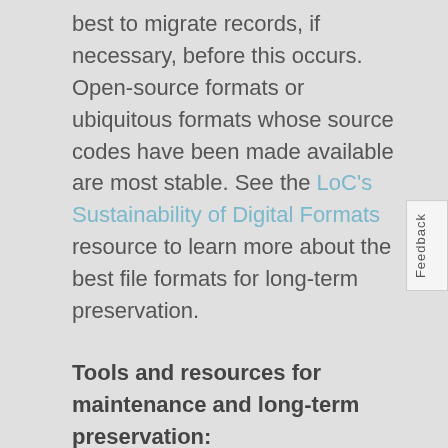best to migrate records, if necessary, before this occurs. Open-source formats or ubiquitous formats whose source codes have been made available are most stable. See the LoC's Sustainability of Digital Formats resource to learn more about the best file formats for long-term preservation.
Tools and resources for maintenance and long-term preservation:
Digitally Endangered Species
md5
NARA File Analyzer and Metadata Harvester